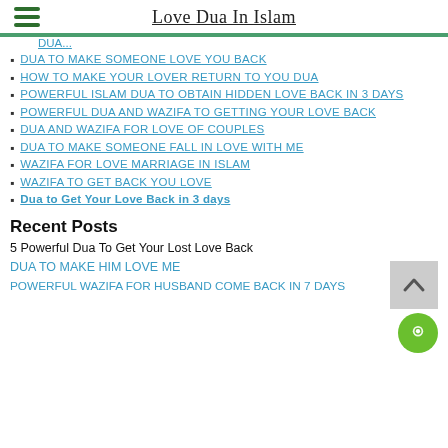Love Dua In Islam
DUA TO MAKE SOMEONE LOVE YOU BACK
HOW TO MAKE YOUR LOVER RETURN TO YOU DUA
POWERFUL ISLAM DUA TO OBTAIN HIDDEN LOVE BACK IN 3 DAYS
POWERFUL DUA AND WAZIFA TO GETTING YOUR LOVE BACK
DUA AND WAZIFA FOR LOVE OF COUPLES
DUA TO MAKE SOMEONE FALL IN LOVE WITH ME
WAZIFA FOR LOVE MARRIAGE IN ISLAM
WAZIFA TO GET BACK YOU LOVE
Dua to Get Your Love Back in 3 days
Recent Posts
5 Powerful Dua To Get Your Lost Love Back
DUA TO MAKE HIM LOVE ME
POWERFUL WAZIFA FOR HUSBAND COME BACK IN 7 DAYS